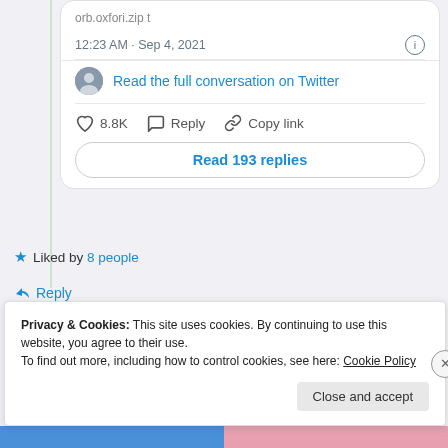orb.oxfori.zip t
12:23 AM · Sep 4, 2021
Read the full conversation on Twitter
8.8K   Reply   Copy link
Read 193 replies
Liked by 8 people
↳ Reply
Privacy & Cookies: This site uses cookies. By continuing to use this website, you agree to their use.
To find out more, including how to control cookies, see here: Cookie Policy
Close and accept